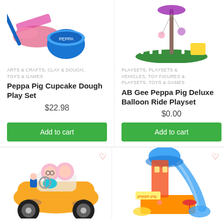[Figure (photo): Peppa Pig Cupcake Dough Play Set product photo showing pink clay/dough items and a blue container]
[Figure (photo): AB Gee Peppa Pig Deluxe Balloon Ride Playset product photo showing a green carousel/ride playset]
ARTS & CRAFTS, CLAY & DOUGH, TOYS & GAMES
PLAYSETS, PLAYSETS & VEHICLES, TOY FIGURES & PLAYSETS, TOYS & GAMES
Peppa Pig Cupcake Dough Play Set
AB Gee Peppa Pig Deluxe Balloon Ride Playset
$22.98
$0.00
Add to cart
Add to cart
[Figure (photo): Peppa Pig toy car (yellow buggy) with Daddy Pig and Mummy Pig figures]
[Figure (photo): Peppa Pig themed water park / playset with blue slide and accessories]